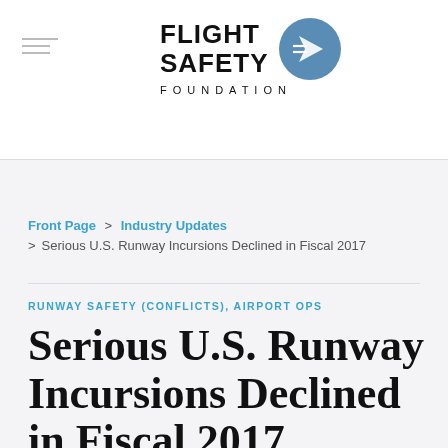[Figure (logo): Flight Safety Foundation logo with circular airplane icon and wordmark]
Front Page > Industry Updates > Serious U.S. Runway Incursions Declined in Fiscal 2017
RUNWAY SAFETY (CONFLICTS), AIRPORT OPS
Serious U.S. Runway Incursions Declined in Fiscal 2017